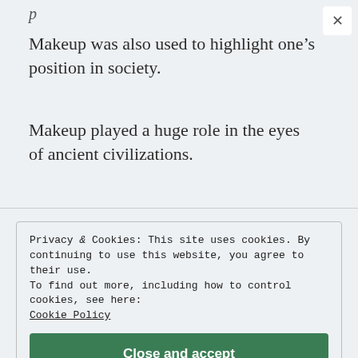p
Makeup was also used to highlight one’s position in society.
Makeup played a huge role in the eyes of ancient civilizations.
Privacy & Cookies: This site uses cookies. By continuing to use this website, you agree to their use. To find out more, including how to control cookies, see here: Cookie Policy
Close and accept